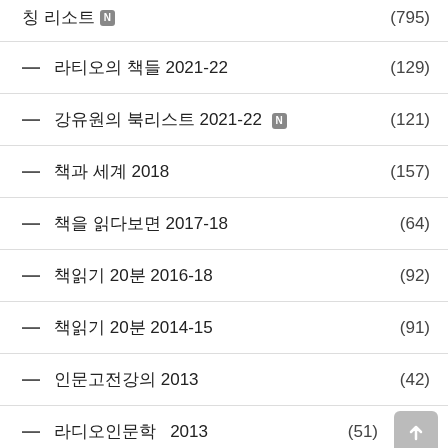칭 리소트 N (795)
— 라티오의 책들 2021-22 (129)
— 강유원의 북리스트 2021-22 N (121)
— 책과 세계 2018 (157)
— 책을 읽다보면 2017-18 (64)
— 책읽기 20분 2016-18 (92)
— 책읽기 20분 2014-15 (91)
— 인문고전강의 2013 (42)
— 라디오인문학 2013 (51)
— 철학이야기 2012 (48)